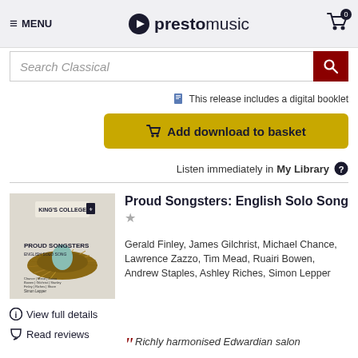≡ MENU | prestomusic | Cart 0
Search Classical
This release includes a digital booklet
Add download to basket
Listen immediately in My Library
[Figure (photo): Album cover for Proud Songsters: English Solo Song — King's College, showing a bird's nest with a blue egg on a pale background]
Proud Songsters: English Solo Song
Gerald Finley, James Gilchrist, Michael Chance, Lawrence Zazzo, Tim Mead, Ruairi Bowen, Andrew Staples, Ashley Riches, Simon Lepper
View full details
Read reviews
Richly harmonised Edwardian salon